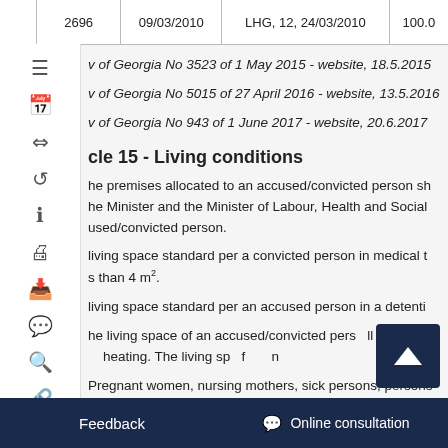| 2696 | 09/03/2010 | LHG, 12, 24/03/2010 | 100.0 |
| --- | --- | --- | --- |
v of Georgia No 3523 of 1 May 2015 - website, 18.5.2015
v of Georgia No 5015 of 27 April 2016 - website, 13.5.2016
v of Georgia No 943 of 1 June 2017 - website, 20.6.2017
Article 15 - Living conditions
The premises allocated to an accused/convicted person sh... the Minister and the Minister of Labour, Health and Social ... used/convicted person.
living space standard per a convicted person in medical t... s than 4 m².
living space standard per an accused person in a detentio...
The living space of an accused/convicted pers... ll hav... heating. The living sp... of ... n...
Pregnant women, nursing mothers, sick persons, persons